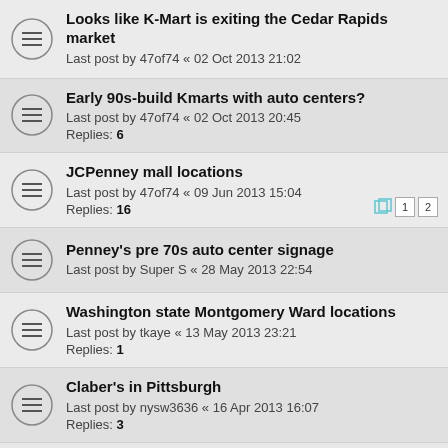Looks like K-Mart is exiting the Cedar Rapids market
Last post by 47of74 « 02 Oct 2013 21:02
Early 90s-build Kmarts with auto centers?
Last post by 47of74 « 02 Oct 2013 20:45
Replies: 6
JCPenney mall locations
Last post by 47of74 « 09 Jun 2013 15:04
Replies: 16
Penney's pre 70s auto center signage
Last post by Super S « 28 May 2013 22:54
Washington state Montgomery Ward locations
Last post by tkaye « 13 May 2013 23:21
Replies: 1
Claber's in Pittsburgh
Last post by nysw3636 « 16 Apr 2013 16:07
Replies: 3